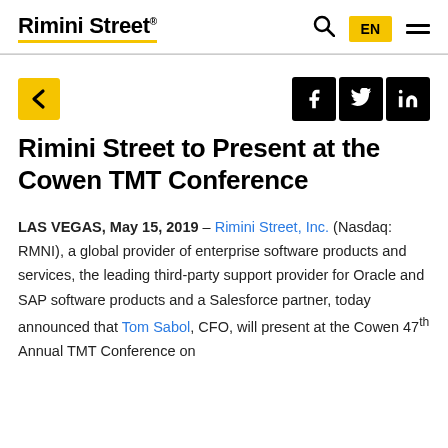Rimini Street® EN
[Figure (other): Navigation bar with back arrow (yellow button), Facebook, Twitter, and LinkedIn social media icons]
Rimini Street to Present at the Cowen TMT Conference
LAS VEGAS, May 15, 2019 – Rimini Street, Inc. (Nasdaq: RMNI), a global provider of enterprise software products and services, the leading third-party support provider for Oracle and SAP software products and a Salesforce partner, today announced that Tom Sabol, CFO, will present at the Cowen 47th Annual TMT Conference on